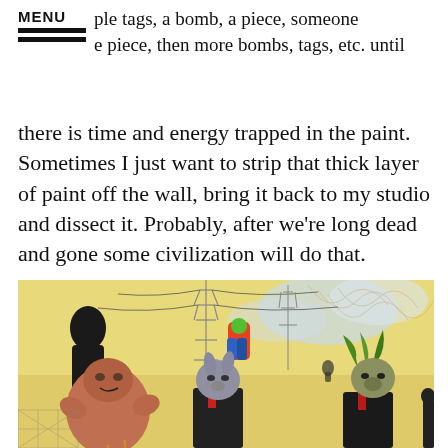MENU  ple tags, a bomb, a piece, someone  e piece, then more bombs, tags, etc. until
there is time and energy trapped in the paint. Sometimes I just want to strip that thick layer of paint off the wall, bring it back to my studio and dissect it. Probably, after we're long dead and gone some civilization will do that.
[Figure (illustration): A detailed watercolor and ink illustration depicting surreal figures in an urban/industrial landscape. Features a large dark silhouetted figure on the left, a colorful figure in the middle background, electrical pylons, power lines, clouds, and in the foreground three grotesque figures: a rotund creature, a figure with a dog/rabbit head wearing a suit, and a figure with a green-haired reptile head in a suit.]